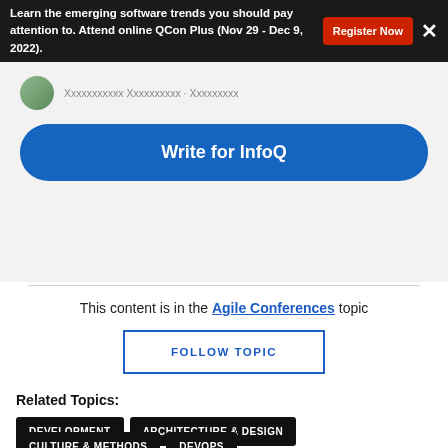Learn the emerging software trends you should pay attention to. Attend online QCon Plus (Nov 29 - Dec 9, 2022).
[Figure (other): Write for InfoQ promotional box with avatar and blue rounded button]
This content is in the Agile Conferences topic
FOLLOW TOPIC
Related Topics:
DEVELOPMENT
ARCHITECTURE & DESIGN
CULTURE & METHODS
DEVOPS
AI, ML & DATA ENGINEERING
NET-ZERO
DEVOXX UK 2022
CLIMATE CHANGE